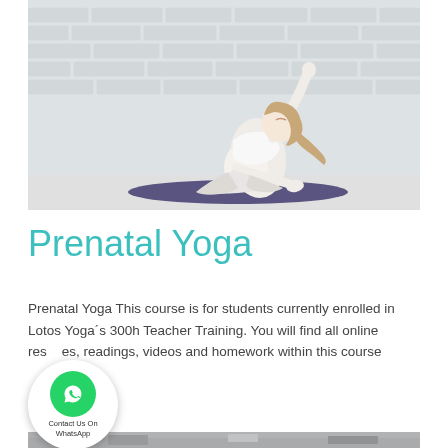[Figure (photo): Pregnant woman in white clothing doing a seated side stretch yoga pose on a dark yoga mat against a white brick wall background]
Prenatal Yoga
Prenatal Yoga This course is for students currently enrolled in Lotos Yoga´s 300h Teacher Training. You will find all online resources, readings, videos and homework within this course
[Figure (photo): Partial image of another photo visible at the bottom of the page]